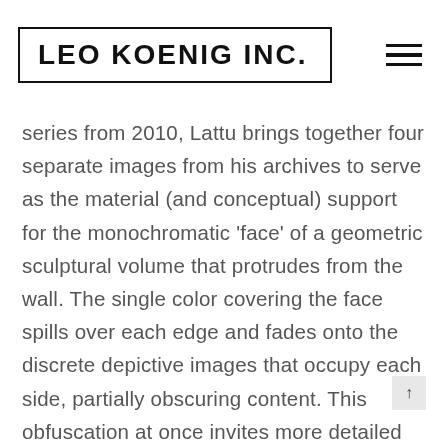LEO KOENIG INC.
series from 2010, Lattu brings together four separate images from his archives to serve as the material (and conceptual) support for the monochromatic 'face' of a geometric sculptural volume that protrudes from the wall. The single color covering the face spills over each edge and fades onto the discrete depictive images that occupy each side, partially obscuring content. This obfuscation at once invites more detailed inspection and acknowledges a co-constructive relationship between pure image and pure color. While these works, like the slide presentations, adhere to a general format, each "Selected Composition" is unique in that it differs in shape, size, image and color according to the artistic